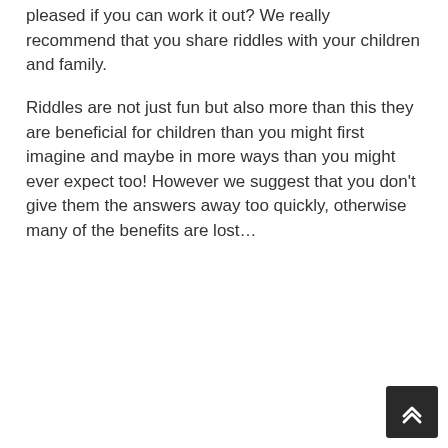pleased if you can work it out? We really recommend that you share riddles with your children and family.
Riddles are not just fun but also more than this they are beneficial for children than you might first imagine and maybe in more ways than you might ever expect too! However we suggest that you don't give them the answers away too quickly, otherwise many of the benefits are lost…